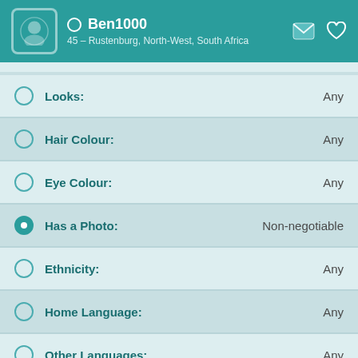Ben1000 — 45 – Rustenburg, North-West, South Africa
Looks:   Any
Hair Colour:   Any
Eye Colour:   Any
Has a Photo:   Non-negotiable
Ethnicity:   Any
Home Language:   Any
Other Languages:   Any
Religion:   Agnostic; Christian / Other